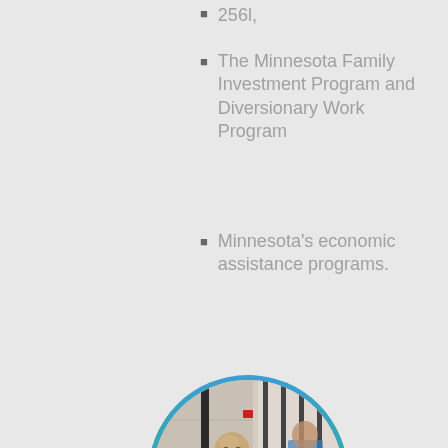256l,
The Minnesota Family Investment Program and Diversionary Work Program
Minnesota's economic assistance programs.
[Figure (photo): A correctional officer in blue uniform opening a security gate/cell door in a prison hallway. Another officer visible in background through bars.]
[Figure (photo): A person working in what appears to be a library or warehouse setting, reaching for items on shelves.]